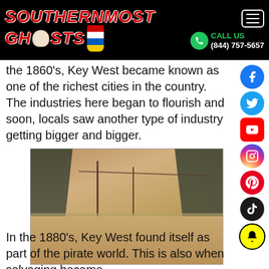Southernmost Ghosts | CALL US (844) 757-5657
the 1860's, Key West became known as one of the richest cities in the country. The industries here began to flourish and soon, locals saw another type of industry getting bigger and bigger.
[Figure (photo): Historic sepia photograph of a flooded street in Key West, with palm trees and telegraph poles lining both sides of the road and standing water covering the street.]
In the 1880's, Key West found itself as part of the pirate world. This is also when salvaging became